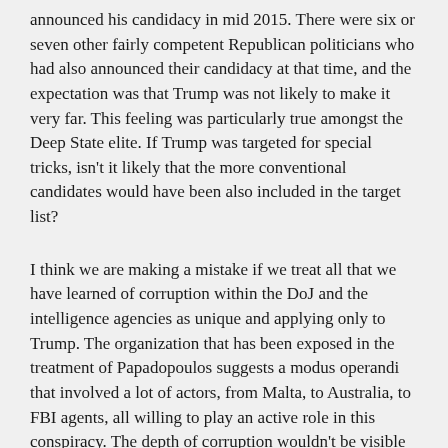announced his candidacy in mid 2015. There were six or seven other fairly competent Republican politicians who had also announced their candidacy at that time, and the expectation was that Trump was not likely to make it very far. This feeling was particularly true amongst the Deep State elite. If Trump was targeted for special tricks, isn't it likely that the more conventional candidates would have been also included in the target list?
I think we are making a mistake if we treat all that we have learned of corruption within the DoJ and the intelligence agencies as unique and applying only to Trump. The organization that has been exposed in the treatment of Papadopoulos suggests a modus operandi that involved a lot of actors, from Malta, to Australia, to FBI agents, all willing to play an active role in this conspiracy. The depth of corruption wouldn't be visible to any single actor in this little drama. Each could assume it was just business as usual. Another opportunity for Alexander Downer to have a couple of drinks with the fetching Erika Thompson at the Kensington Wine Room, all paid for by the company, and, oh yes, chat up some nobody who needs a course correction and who might say something that might prove